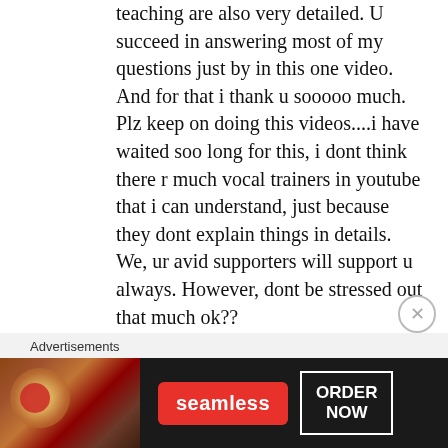teaching are also very detailed. U succeed in answering most of my questions just by in this one video. And for that i thank u sooooo much. Plz keep on doing this videos....i have waited soo long for this, i dont think there r much vocal trainers in youtube that i can understand, just because they dont explain things in details. We, ur avid supporters will support u always. However, dont be stressed out that much ok??
stay healthy and awesome. Wish u the best of luck on ur videos and analysis. 😊
Advertisements
[Figure (other): Seamless food delivery advertisement banner with pizza image on left, red Seamless logo button in center, and white ORDER NOW button on right, on dark background]